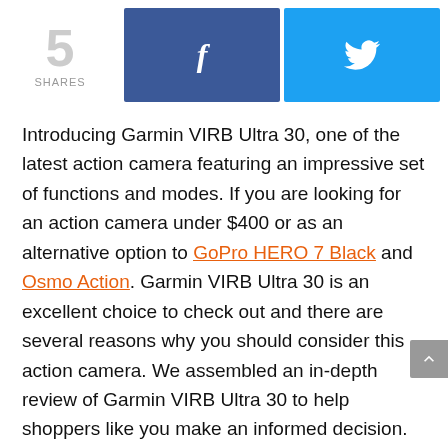[Figure (other): Social sharing bar with share count '5 SHARES', Facebook button (dark blue with 'f' icon), and Twitter button (light blue with bird icon)]
Introducing Garmin VIRB Ultra 30, one of the latest action camera featuring an impressive set of functions and modes. If you are looking for an action camera under $400 or as an alternative option to GoPro HERO 7 Black and Osmo Action. Garmin VIRB Ultra 30 is an excellent choice to check out and there are several reasons why you should consider this action camera. We assembled an in-depth review of Garmin VIRB Ultra 30 to help shoppers like you make an informed decision.
In this review, we will be covering design quality, specifications, performance, features, and usability. While these action cameras under $400 are packed